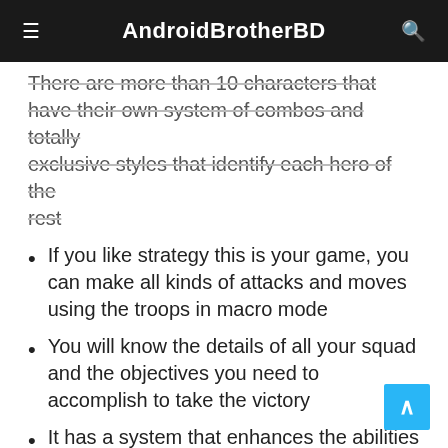AndroidBrotherBD
There are more than 10 characters that have their own system of combos and totally exclusive styles that identify each hero of the rest
If you like strategy this is your game, you can make all kinds of attacks and moves using the troops in macro mode
You will know the details of all your squad and the objectives you need to accomplish to take the victory
It has a system that enhances the abilities of the heroes
Something crucial if you want to have at your disposal a critical blow that allows you win